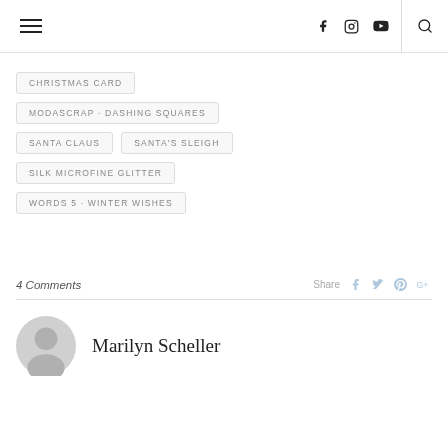Navigation header with hamburger menu, social icons (facebook, instagram, youtube) and search
CHRISTMAS CARD
MODASCRAP · DASHING SQUARES
SANTA CLAUS
SANTA'S SLEIGH
SILK MICROFINE GLITTER
WORDS 5 · WINTER WISHES
4 Comments  Share
Marilyn Scheller